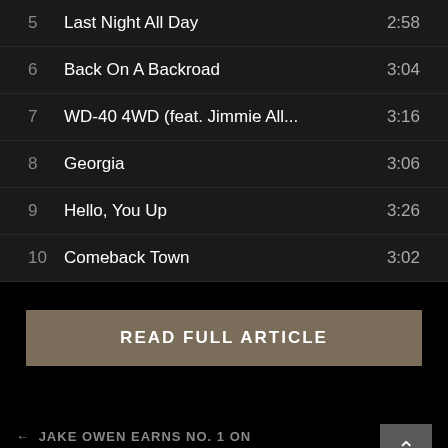| # | Title | Duration |
| --- | --- | --- |
| 5 | Last Night All Day | 2:58 |
| 6 | Back On A Backroad | 3:04 |
| 7 | WD-40 4WD (feat. Jimmie All... | 3:16 |
| 8 | Georgia | 3:06 |
| 9 | Hello, You Up | 3:26 |
| 10 | Comeback Town | 3:02 |
READ FULL ARTICLE
← JAKE OWEN EARNS NO. 1 ON MUSICROW COUNTRYBREAKOUT RADIO CHART
WATCH: SEAN STEMALY HEADS TO A